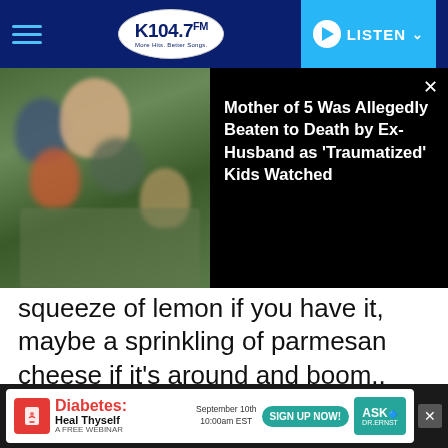K104.7 FM — LISTEN
[Figure (screenshot): News overlay: photo of a mother with 5 blurred children outdoors, with headline 'Mother of 5 Was Allegedly Beaten to Death by Ex-Husband as Traumatized Kids Watched']
squeeze of lemon if you have it, maybe a sprinkling of parmesan cheese if it's around and boom.. Dinner!
It's not gourmet, it's not the Food Network, and it's definitely not fancy but it's fast, easy, cheap, and available. If you have some other pantry cooking ideas, share with us on socials! Fun
[Figure (screenshot): Advertisement banner: Diabetes: Heal Thyself — A Free Webinar, September 10th 10:00am EST, Sign Up Now!, Ask Dr. Ernst]